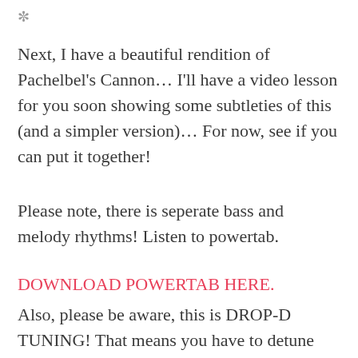[Figure (other): Decorative spinner/loading icon in grey]
Next, I have a beautiful rendition of Pachelbel's Cannon… I'll have a video lesson for you soon showing some subtleties of this (and a simpler version)… For now, see if you can put it together!
Please note, there is seperate bass and melody rhythms! Listen to powertab.
DOWNLOAD POWERTAB HERE.
Also, please be aware, this is DROP-D TUNING! That means you have to detune your low E string 1 whole step to a D, instead of an E. I'm personally